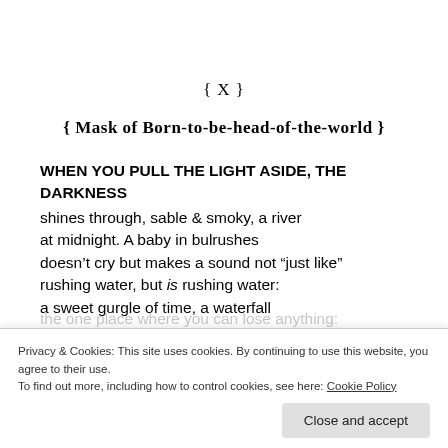{ X }
{ Mask of Born-to-be-head-of-the-world }
WHEN YOU PULL THE LIGHT ASIDE, THE DARKNESS shines through, sable & smoky, a river at midnight. A baby in bulrushes doesn’t cry but makes a sound not “just like” rushing water, but is rushing water: a sweet gurgle of time, a waterfall
Privacy & Cookies: This site uses cookies. By continuing to use this website, you agree to their use. To find out more, including how to control cookies, see here: Cookie Policy
the one place where you can lose anything: